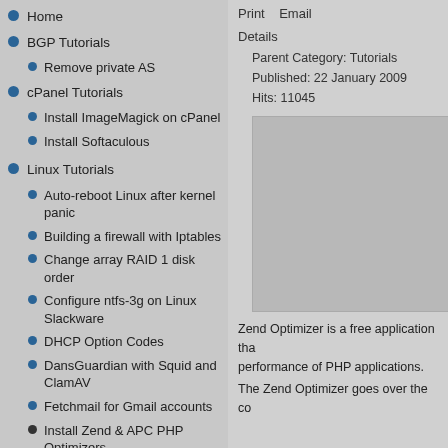Home
BGP Tutorials
Remove private AS
cPanel Tutorials
Install ImageMagick on cPanel
Install Softaculous
Linux Tutorials
Auto-reboot Linux after kernel panic
Building a firewall with Iptables
Change array RAID 1 disk order
Configure ntfs-3g on Linux Slackware
DHCP Option Codes
DansGuardian with Squid and ClamAV
Fetchmail for Gmail accounts
Install Zend & APC PHP Optimizers
Install Atheros AR242x PCI Express Adapter
Install awstats with DirectAdmin
Install DBD::mysql via CPAN shell
Install DjbDNS on Ubuntu
Print   Email
Details
Parent Category: Tutorials
Published: 22 January 2009
Hits: 11045
[Figure (photo): Image placeholder for Zend & APC PHP Optimizers article]
Zend Optimizer is a free application that performance of PHP applications.
The Zend Optimizer goes over the co